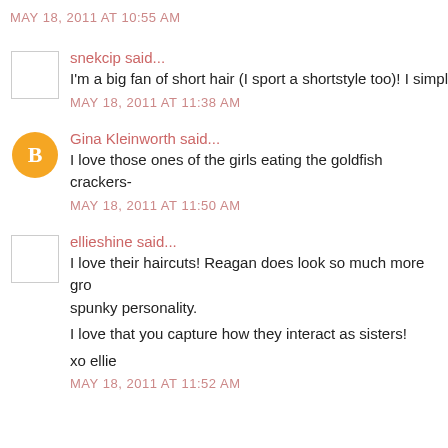MAY 18, 2011 AT 10:55 AM
snekcip said...
I'm a big fan of short hair (I sport a shortstyle too)! I simpl
MAY 18, 2011 AT 11:38 AM
Gina Kleinworth said...
I love those ones of the girls eating the goldfish crackers-
MAY 18, 2011 AT 11:50 AM
ellieshine said...
I love their haircuts! Reagan does look so much more gro spunky personality.

I love that you capture how they interact as sisters!

xo ellie
MAY 18, 2011 AT 11:52 AM